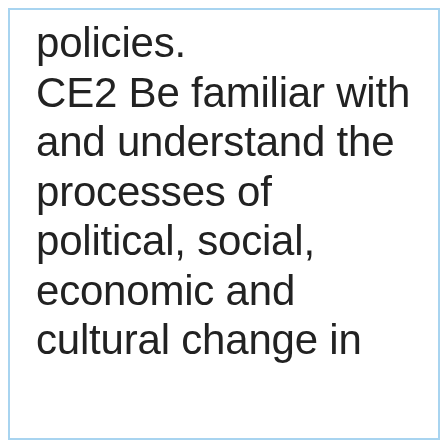policies. CE2 Be familiar with and understand the processes of political, social, economic and cultural change in